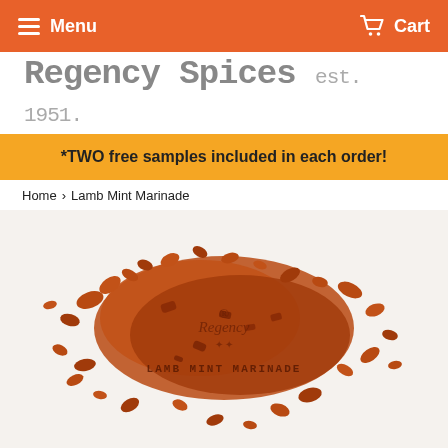Menu   Cart
Regency Spices est. 1951.
*TWO free samples included in each order!
Home › Lamb Mint Marinade
[Figure (photo): Overhead photo of reddish-brown lamb mint marinade spice blend scattered on a white background, with the Regency logo watermark and text 'LAMB MINT MARINADE' overlaid in the center.]